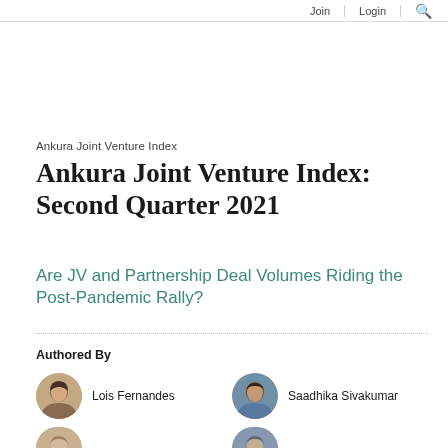Join  Login  🔍
Ankura Joint Venture Index
Ankura Joint Venture Index: Second Quarter 2021
Are JV and Partnership Deal Volumes Riding the Post-Pandemic Rally?
Authored By
Lois Fernandes
Saadhika Sivakumar